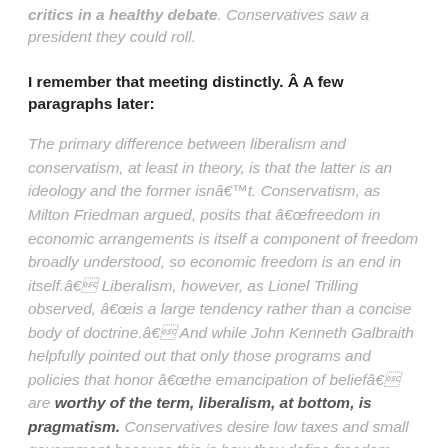critics in a healthy debate. Conservatives saw a president they could roll.
I remember that meeting distinctly. Â A few paragraphs later:
The primary difference between liberalism and conservatism, at least in theory, is that the latter is an ideology and the former isnâ€™t. Conservatism, as Milton Friedman argued, posits that â€œfreedom in economic arrangements is itself a component of freedom broadly understood, so economic freedom is an end in itself.â€ Liberalism, however, as Lionel Trilling observed, â€œis a large tendency rather than a concise body of doctrine.â€ And while John Kenneth Galbraith helpfully pointed out that only those programs and policies that honor â€œthe emancipation of beliefâ€ are worthy of the term, liberalism, at bottom, is pragmatism. Conservatives desire low taxes and small government because this is how they define freedom.